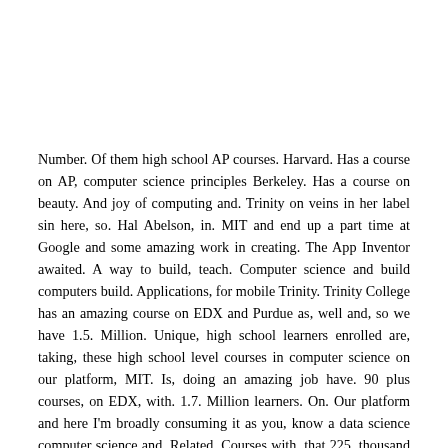Number. Of them high school AP courses. Harvard. Has a course on AP, computer science principles Berkeley. Has a course on beauty. And joy of computing and. Trinity on veins in her label sin here, so. Hal Abelson, in. MIT and end up a part time at Google and some amazing work in creating. The App Inventor awaited. A way to build, teach. Computer science and build computers build. Applications, for mobile Trinity. Trinity College has an amazing course on EDX and Purdue as, well and, so we have 1.5. Million. Unique, high school learners enrolled are, taking, these high school level courses in computer science on our platform, MIT. Is, doing an amazing job have. 90 plus courses, on EDX, with. 1.7. Million learners. On. Our platform and here I'm broadly consuming it as you, know a data science computer science and. Related. Courses with, that 225, thousand certificates, earned and Eric. Grimson who's sitting here probably, single-handedly, contributed, to a large, fraction of them an, etic and John Guttag teach, the. Mitx the MIT introduction, to computer science end up. Python. On, EDX. And what. About the stress here is not not only is it the free course and people, are earning certificates. But, this. Is accessible, in the ADF sense you. See this learner here at Varga he is from IIT Madras in India and. Someone, want to guess what's unique about him he completed, this MITx. Crimson's. Computer, science course on EDX and. This. Is the same as, six. Triple o at. MIT. And he. Completed this course anyone. Guess what's special about him. He's. Blind so. The, platform is weak AG, 2.0. Double-a compliant. The. World wide web